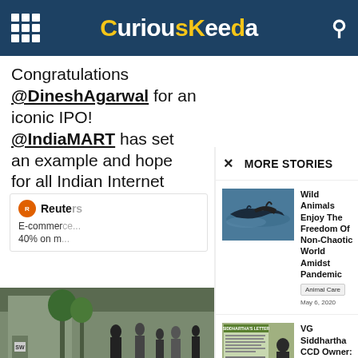CuriousKeeda
Congratulations @DineshAgarwal for an iconic IPO! @IndiaMART has set an example and hope for all Indian Internet companies
Reuters
E-commerce... 40% on m...
MORE STORIES
Wild Animals Enjoy The Freedom Of Non-Chaotic World Amidst Pandemic
Animal Care   May 6, 2020
VG Siddhartha CCD Owner: left a personal debt of more than...
NEWS   August 1, 2019
[Figure (photo): Street scene with people and buildings at bottom of page]